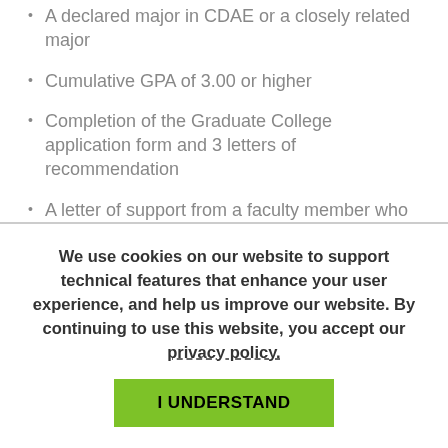A declared major in CDAE or a closely related major
Cumulative GPA of 3.00 or higher
Completion of the Graduate College application form and 3 letters of recommendation
A letter of support from a faculty member who
We use cookies on our website to support technical features that enhance your user experience, and help us improve our website. By continuing to use this website, you accept our privacy policy.
I UNDERSTAND